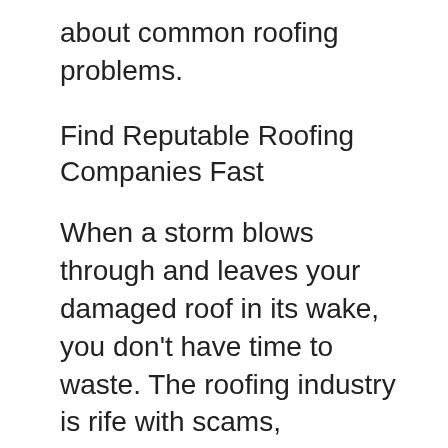about common roofing problems.
Find Reputable Roofing Companies Fast
When a storm blows through and leaves your damaged roof in its wake, you don't have time to waste. The roofing industry is rife with scams, particularly after storms when people know that homeowners are desperate to fix up their homes.
This makes finding a trustworthy roofing company difficult. With Roof Repair Insider, we've already done the legwork for you. All the roofers on our site have already been thoroughly vetted and are